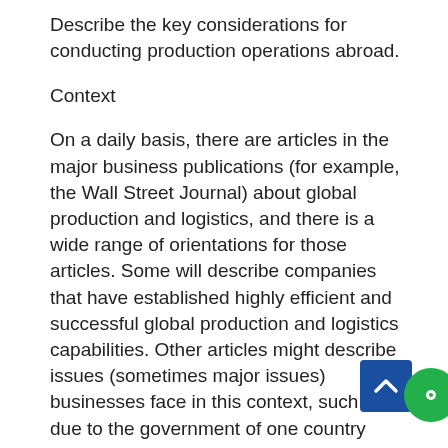Describe the key considerations for conducting production operations abroad.
Context
On a daily basis, there are articles in the major business publications (for example, the Wall Street Journal) about global production and logistics, and there is a wide range of orientations for those articles. Some will describe companies that have established highly efficient and successful global production and logistics capabilities. Other articles might describe issues (sometimes major issues) businesses face in this context, such as due to the government of one country nationalizing a corporation, or due to some other major country-specific issue (for example, a government being overthrown). Such events can obviously have tremendous